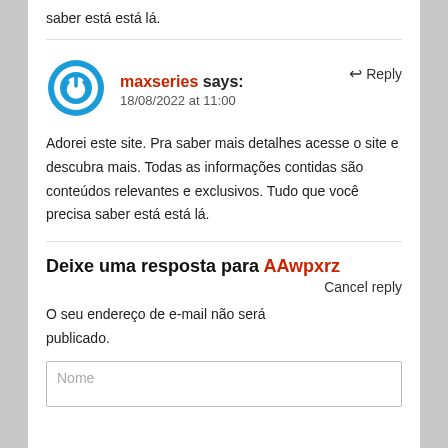saber está está lá.
maxseries says:
18/08/2022 at 11:00
Reply
Adorei este site. Pra saber mais detalhes acesse o site e descubra mais. Todas as informações contidas são conteúdos relevantes e exclusivos. Tudo que você precisa saber está está lá.
Deixe uma resposta para AAwpxrz
Cancel reply
O seu endereço de e-mail não será publicado.
Nome